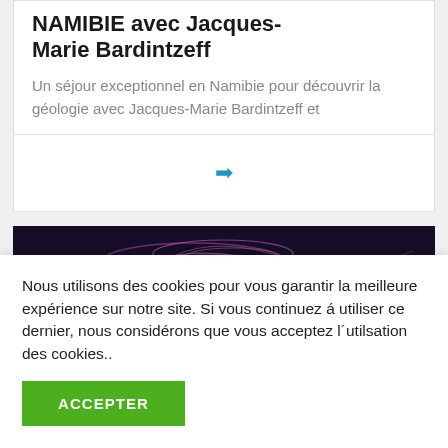NAMIBIE avec Jacques-Marie Bardintzeff
Un séjour exceptionnel en Namibie pour découvrir la géologie avec Jacques-Marie Bardintzeff et
[Figure (other): Blue arrow icon pointing right, used as a navigation link]
[Figure (photo): Dark image strip with pink/red abstract light streaks on dark purple/black background]
Nous utilisons des cookies pour vous garantir la meilleure expérience sur notre site. Si vous continuez á utiliser ce dernier, nous considérons que vous acceptez l´utilsation des cookies..
ACCEPTER